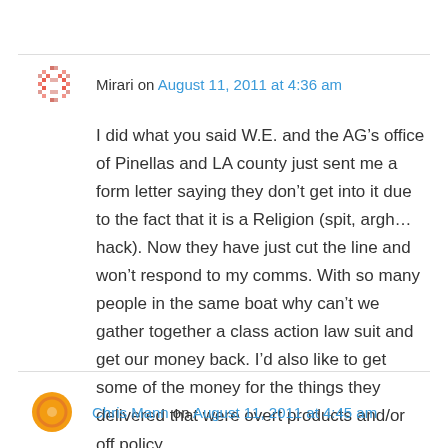Mirari on August 11, 2011 at 4:36 am
I did what you said W.E. and the AG’s office of Pinellas and LA county just sent me a form letter saying they don’t get into it due to the fact that it is a Religion (spit, argh…hack). Now they have just cut the line and won’t respond to my comms. With so many people in the same boat why can’t we gather together a class action law suit and get our money back. I’d also like to get some of the money for the things they delivered that were overt products and/or off policy.
Chris Mann on August 11, 2011 at 4:45 am